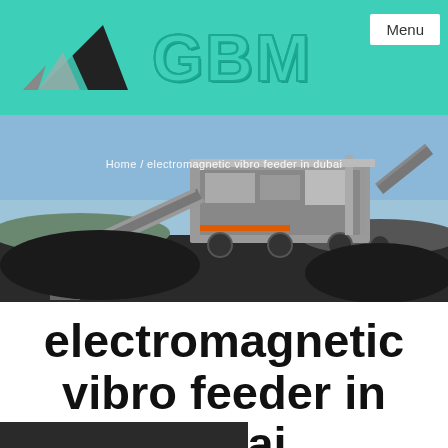GBM  Menu
[Figure (photo): Industrial mining/crushing machinery on a dark gravel site with blue sky background. Large mobile crushing/screening plant with conveyor belts visible.]
Home / electromagnetic vibro feeder in dubai
electromagnetic vibro feeder in dubai
[Figure (photo): Bottom partial image, dark background — beginning of another photo]